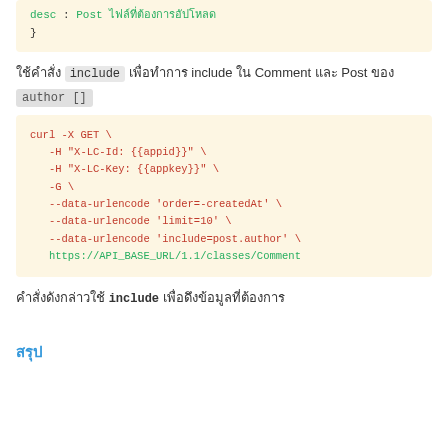[Figure (screenshot): Code block showing JSON with 'desc' and closing brace, teal colored text on cream background]
ใช้คำสั่ง include เพื่อทำการ include ใน Comment และ Post ของ author []
[Figure (screenshot): curl command code block: curl -X GET with headers X-LC-Id, X-LC-Key, -G flag, --data-urlencode options for order=-createdAt, limit=10, include=post.author, and URL https://API_BASE_URL/1.1/classes/Comment]
คำสั่งดังกล่าวใช้ include เพื่อดึงข้อมูลที่ต้องการ
สรุป